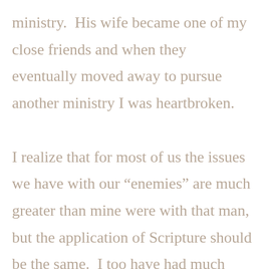ministry.  His wife became one of my close friends and when they eventually moved away to pursue another ministry I was heartbroken.

I realize that for most of us the issues we have with our “enemies” are much greater than mine were with that man, but the application of Scripture should be the same.  I too have had much more difficult issues with people more intimately involved in my life.  But the same God who worked in my heart as I chose to be obedient in prayer will work in our more